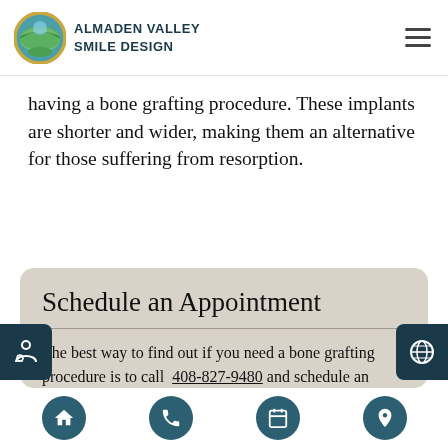Almaden Valley Smile Design
having a bone grafting procedure. These implants are shorter and wider, making them an alternative for those suffering from resorption.
Schedule an Appointment
The best way to find out if you need a bone grafting procedure is to call 408-827-9480 and schedule an appointment with our dental